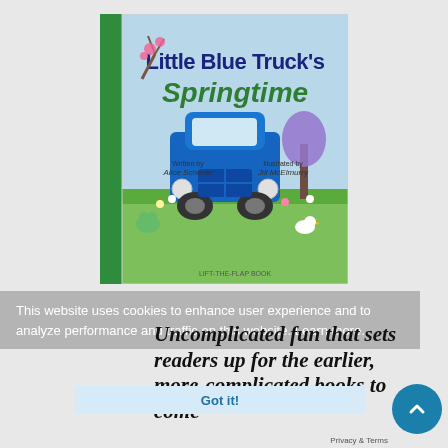[Figure (illustration): Book cover of 'Little Blue Truck's Springtime' by Alice Schertle, illustrated by Jill McElmurry. Shows a blue truck driving through a springtime scene with animals, flowers, and trees. Green spine on left side.]
This website uses cookies to enhance user experience and to analyze performance and traffic on this website. Learn more.
Uncomplicated fun that sets readers up for the earlier, more-complicated books to come
Got it!